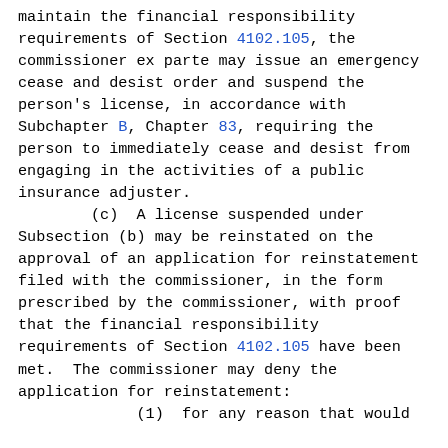maintain the financial responsibility requirements of Section 4102.105, the commissioner ex parte may issue an emergency cease and desist order and suspend the person's license, in accordance with Subchapter B, Chapter 83, requiring the person to immediately cease and desist from engaging in the activities of a public insurance adjuster.
        (c)  A license suspended under Subsection (b) may be reinstated on the approval of an application for reinstatement filed with the commissioner, in the form prescribed by the commissioner, with proof that the financial responsibility requirements of Section 4102.105 have been met.  The commissioner may deny the application for reinstatement:
             (1)  for any reason that would